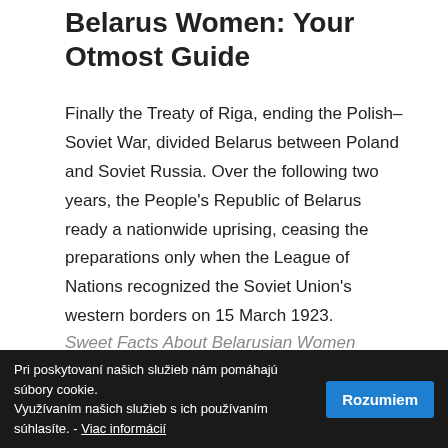Belarus Women: Your Otmost Guide
Finally the Treaty of Riga, ending the Polish–Soviet War, divided Belarus between Poland and Soviet Russia. Over the following two years, the People's Republic of Belarus ready a nationwide uprising, ceasing the preparations only when the League of Nations recognized the Soviet Union's western borders on 15 March 1923.
Sweet Facts About Belarusian Women
Even if they'll communicate your language, they will go above and beyond...
Pri poskytovaní našich služieb nám pomáhajú súbory cookie. Využívaním našich služieb s ich používaním súhlasíte. - Viac informácií